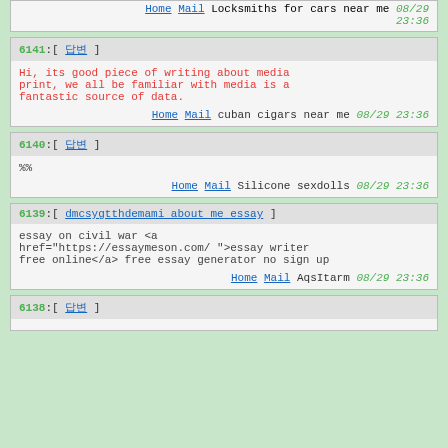Home Mail Locksmiths for cars near me 08/29 23:36
6141:[ 답변 ] Hi, its good piece of writing about media print, we all be familiar with media is a fantastic source of data. Home Mail cuban cigars near me 08/29 23:36
6140:[ 답변 ] %% Home Mail Silicone sexdolls 08/29 23:36
6139:[ dmcsygtthdemami about me essay ] essay on civil war <a href="https://essaymeson.com/ ">essay writer free online</a> free essay generator no sign up Home Mail AqsItarm 08/29 23:36
6138:[ 답변 ]